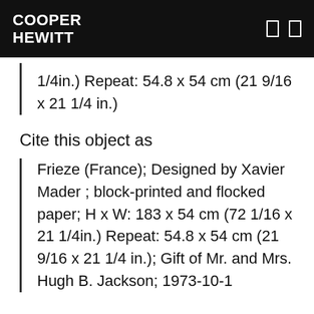COOPER HEWITT
1/4in.) Repeat: 54.8 x 54 cm (21 9/16 x 21 1/4 in.)
Cite this object as
Frieze (France); Designed by Xavier Mader ; block-printed and flocked paper; H x W: 183 x 54 cm (72 1/16 x 21 1/4in.) Repeat: 54.8 x 54 cm (21 9/16 x 21 1/4 in.); Gift of Mr. and Mrs. Hugh B. Jackson; 1973-10-1